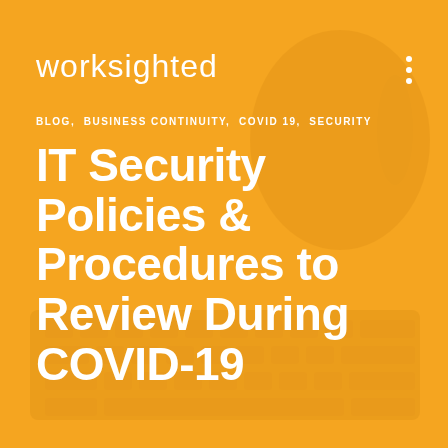[Figure (logo): Worksighted company logo in white text on orange background]
BLOG, BUSINESS CONTINUITY, COVID 19, SECURITY
IT Security Policies & Procedures to Review During COVID-19